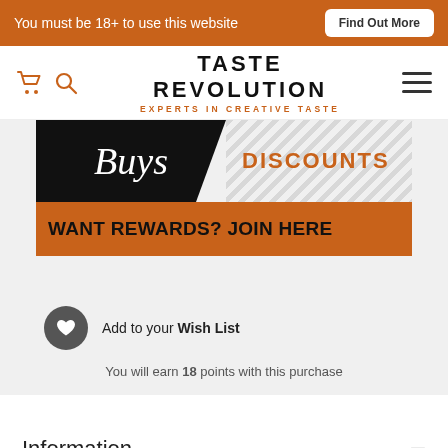You must be 18+ to use this website | Find Out More
[Figure (logo): Taste Revolution logo with cart and search icons and hamburger menu]
[Figure (infographic): Promotional banner showing 'Buys DISCOUNTS' and 'WANT REWARDS? JOIN HERE' orange call-to-action bar]
Add to your Wish List
You will earn 18 points with this purchase
Information
50 iSi Sparkwhip Cream Chargers